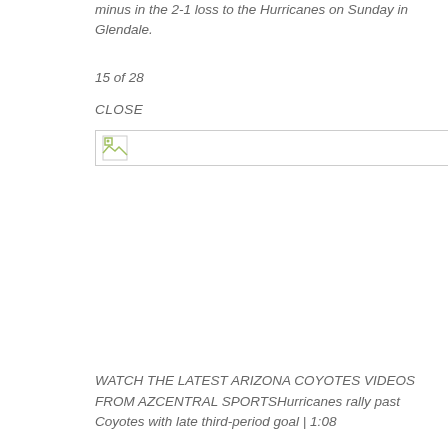minus in the 2-1 loss to the Hurricanes on Sunday in Glendale.
15 of 28
CLOSE
[Figure (photo): Broken/missing image placeholder with small image icon]
WATCH THE LATEST ARIZONA COYOTES VIDEOS FROM AZCENTRAL SPORTSHurricanes rally past Coyotes with late third-period goal | 1:08